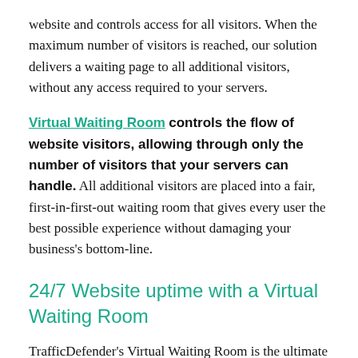website and controls access for all visitors. When the maximum number of visitors is reached, our solution delivers a waiting page to all additional visitors, without any access required to your servers.
Virtual Waiting Room controls the flow of website visitors, allowing through only the number of visitors that your servers can handle. All additional visitors are placed into a fair, first-in-first-out waiting room that gives every user the best possible experience without damaging your business's bottom-line.
24/7 Website uptime with a Virtual Waiting Room
TrafficDefender's Virtual Waiting Room is the ultimate insurance policy for websites with a need to react